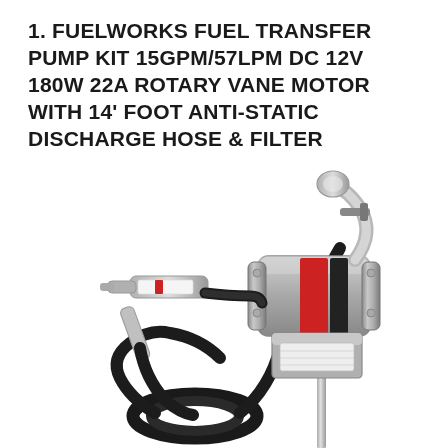1. FUELWORKS FUEL TRANSFER PUMP KIT 15GPM/57LPM DC 12V 180W 22A ROTARY VANE MOTOR WITH 14' FOOT ANTI-STATIC DISCHARGE HOSE & FILTER
[Figure (photo): A Fuelworks fuel transfer pump kit showing a rotary vane motor (silver/grey metallic body with red and black accents) mounted on a vertical pole, with a fuel nozzle/gun attached via a black anti-static discharge hose coiled at the bottom. The pump has a cylindrical motor body with visible screws and a label, plus a curved outlet pipe at the top.]